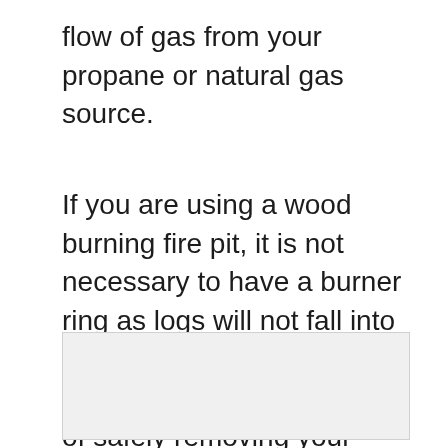flow of gas from your propane or natural gas source.
If you are using a wood burning fire pit, it is not necessary to have a burner ring as logs will not fall into the pit. However, if you would like the convenience of safely removing your logs from the fire pit, a round stove pipe burner ring is an effective solution.
[Figure (photo): Light gray rectangular image placeholder area]